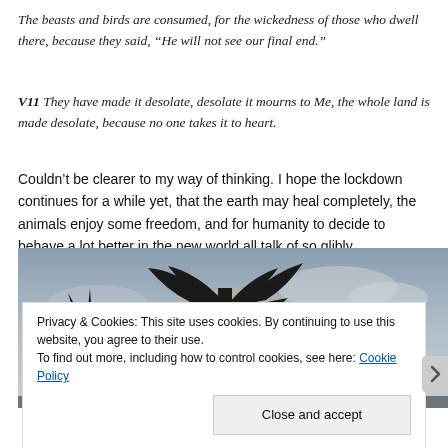The beasts and birds are consumed, for the wickedness of those who dwell there, because they said, “He will not see our final end.”
V11 They have made it desolate, desolate it mourns to Me, the whole land is made desolate, because no one takes it to heart.
Couldn’t be clearer to my way of thinking. I hope the lockdown continues for a while yet, that the earth may heal completely, the animals enjoy some freedom, and for humanity to decide to behave a lot better in the new world all talk of so glibly.
[Figure (photo): Silhouette of a tree against a pale sky with clouds, sunset or sunrise lighting visible behind the tree.]
Privacy & Cookies: This site uses cookies. By continuing to use this website, you agree to their use.
To find out more, including how to control cookies, see here: Cookie Policy